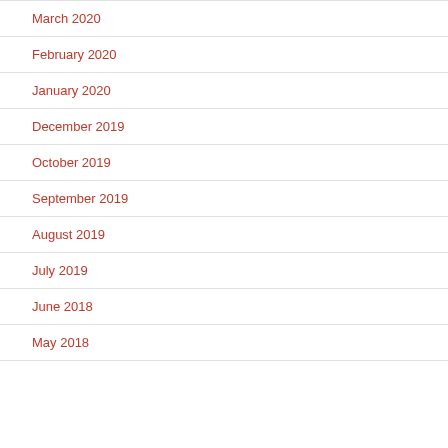March 2020
February 2020
January 2020
December 2019
October 2019
September 2019
August 2019
July 2019
June 2018
May 2018